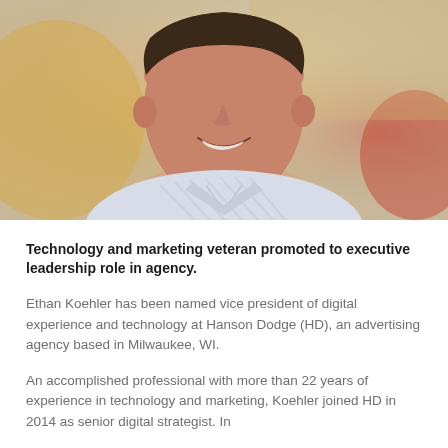[Figure (photo): Professional headshot of a smiling man in a light blue/white striped collared shirt against a warm blurred background]
Technology and marketing veteran promoted to executive leadership role in agency.
Ethan Koehler has been named vice president of digital experience and technology at Hanson Dodge (HD), an advertising agency based in Milwaukee, WI.
An accomplished professional with more than 22 years of experience in technology and marketing, Koehler joined HD in 2014 as senior digital strategist. In